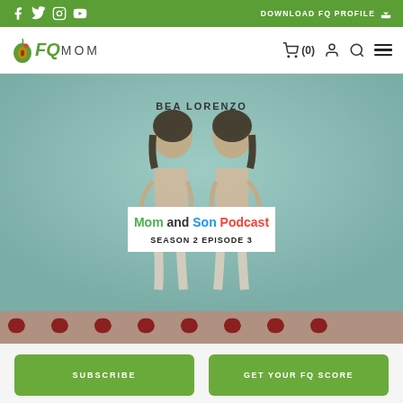DOWNLOAD FQ PROFILE
[Figure (screenshot): FQmom website navigation bar with logo, cart icon, user icon, search icon, and hamburger menu]
[Figure (photo): Bea Lorenzo Mom and Son Podcast Season 2 Episode 3 cover image with two figures standing back to back on a teal background, with a white label box overlaid showing the podcast title and episode info]
SUBSCRIBE
GET YOUR FQ SCORE